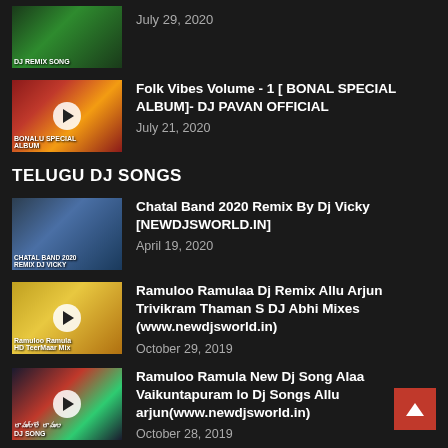July 29, 2020
Folk Vibes Volume - 1 [ BONAL SPECIAL ALBUM]- DJ PAVAN OFFICIAL
July 21, 2020
TELUGU DJ SONGS
Chatal Band 2020 Remix By Dj Vicky [NEWDJSWORLD.IN]
April 19, 2020
Ramuloo Ramulaa Dj Remix Allu Arjun Trivikram Thaman S DJ Abhi Mixes (www.newdjsworld.in)
October 29, 2019
Ramuloo Ramula New Dj Song Alaa Vaikuntapuram lo Dj Songs Allu arjun(www.newdjsworld.in)
October 28, 2019